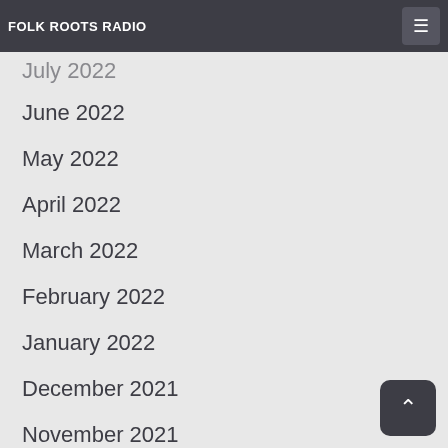FOLK ROOTS RADIO
July 2022
June 2022
May 2022
April 2022
March 2022
February 2022
January 2022
December 2021
November 2021
October 2021
September 2021
August 2021
July 2021
June 2021
May 2021
April 2021